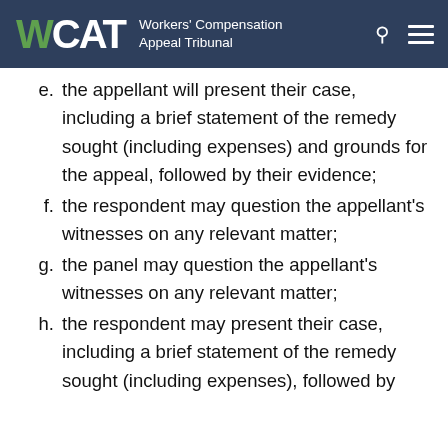WCAT Workers' Compensation Appeal Tribunal
e. the appellant will present their case, including a brief statement of the remedy sought (including expenses) and grounds for the appeal, followed by their evidence;
f. the respondent may question the appellant's witnesses on any relevant matter;
g. the panel may question the appellant's witnesses on any relevant matter;
h. the respondent may present their case, including a brief statement of the remedy sought (including expenses), followed by